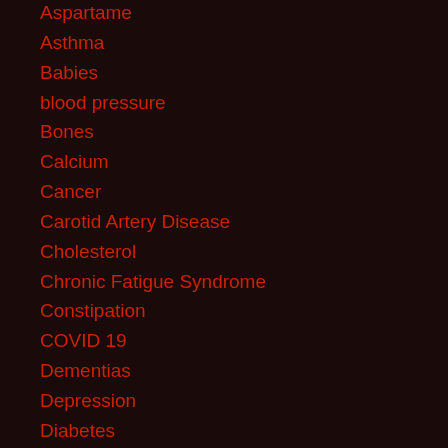Aspartame
Asthma
Babies
blood pressure
Bones
Calcium
Cancer
Carotid Artery Disease
Cholesterol
Chronic Fatigue Syndrome
Constipation
COVID 19
Dementias
Depression
Diabetes